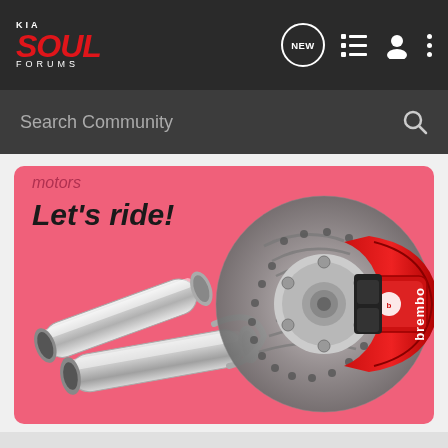[Figure (logo): Kia Soul Forums logo — red italic SOUL text with KIA above and FORUMS below in white on dark background]
[Figure (infographic): Navigation icons: NEW speech bubble, list/menu icon, user/profile icon, three-dot more menu]
[Figure (screenshot): Search Community bar with magnifying glass icon on dark background]
[Figure (photo): Automotive parts promotional banner on pink/salmon background showing chrome exhaust pipes on left and a red Brembo brake caliper with drilled rotor on right. Text reads 'motors' and 'Let's ride!']